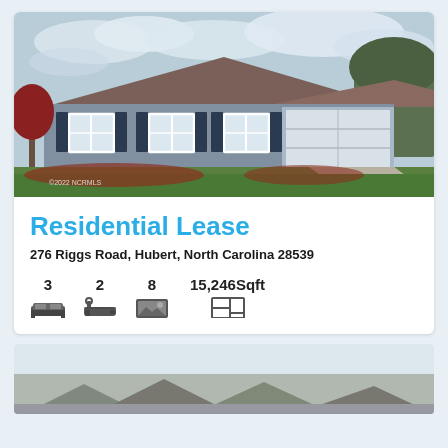[Figure (photo): Exterior photo of a single-story residential house with brown/grey siding, dark shutters, white trim windows, and an attached garage. Green lawn in foreground, cloudy sky background. Watermark text reading ©2022 NCRMLS in lower left corner.]
Residential Lease
276 Riggs Road, Hubert, North Carolina 28539
3  2  8  15,246Sqft
[Figure (photo): Partial view of a second property listing photo, showing rooftops of houses, partially cut off at bottom of page.]